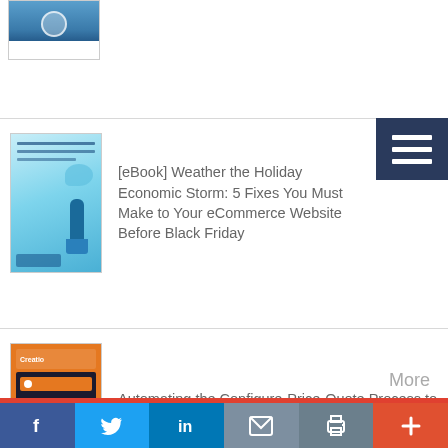[Figure (screenshot): Top book thumbnail with blue gradient cover, partially visible at top of page]
[Figure (screenshot): Hamburger menu icon (three white horizontal lines on dark navy background) in top right]
[eBook] Weather the Holiday Economic Storm: 5 Fixes You Must Make to Your eCommerce Website Before Black Friday
[Figure (illustration): Book cover thumbnail: Weather the Holiday Economic Storm - blue/teal illustrated cover with cartoon figures]
Automating the Configure-Price-Quote Process to Drive Your Business Forward in CRM
[Figure (illustration): Book cover thumbnail: orange cover with dark industrial/worker image inside]
More
[Figure (infographic): Bottom social sharing bar with Facebook (dark blue), Twitter (light blue), LinkedIn (blue), Email (gray-blue), Print (gray-teal), More/Plus (orange-red) buttons]